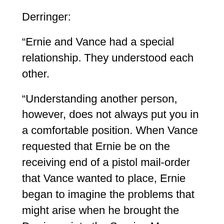Derringer:
“Ernie and Vance had a special relationship. They understood each other.
“Understanding another person, however, does not always put you in a comfortable position. When Vance requested that Ernie be on the receiving end of a pistol mail-order that Vance wanted to place, Ernie began to imagine the problems that might arise when he brought the Derringer into the Sunrise Manor Nursing Home, where Vance and his wife, Mary Parler, lived.
“Vance had assured Ernie that he had no